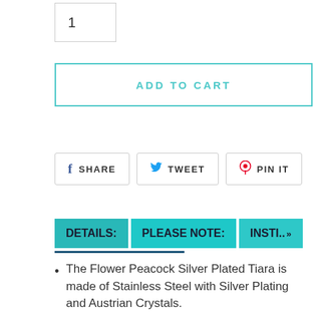1
ADD TO CART
f SHARE   TWEET   PIN IT
DETAILS:   PLEASE NOTE:   INSTI.. »
The Flower Peacock Silver Plated Tiara is made of Stainless Steel with Silver Plating and Austrian Crystals.
Flower Peacock Silver Plated Tiara symbolizes something special. (Its